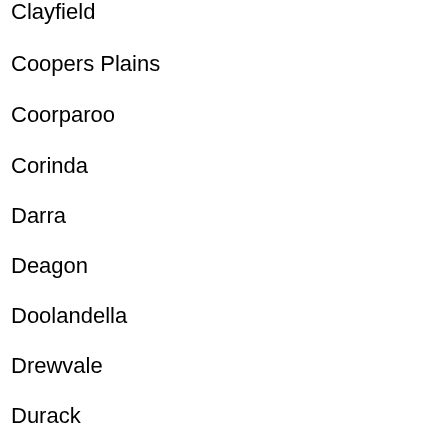Clayfield
Coopers Plains
Coorparoo
Corinda
Darra
Deagon
Doolandella
Drewvale
Durack